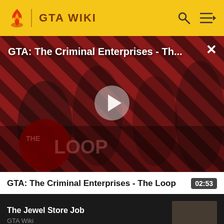GTA WIKI
[Figure (screenshot): Video thumbnail for GTA: The Criminal Enterprises - The Loop with characters on a red striped background and play button overlay. The Loop logo visible at bottom left.]
GTA: The Criminal Enterprises - Th...
02:53
The Jewel Store Job
GTA Wiki